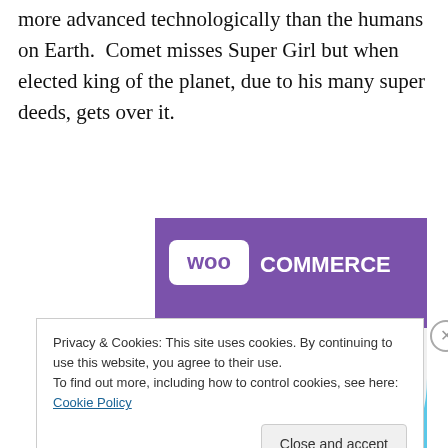more advanced technologically than the humans on Earth.  Comet misses Super Girl but when elected king of the planet, due to his many super deeds, gets over it.
[Figure (illustration): WooCommerce advertisement image showing purple branded header with 'woo COMMERCE' logo, teal triangle shape on left, blue arc on right, and bold text 'How to start selling subscriptions online' on light grey background]
Privacy & Cookies: This site uses cookies. By continuing to use this website, you agree to their use.
To find out more, including how to control cookies, see here: Cookie Policy
Close and accept